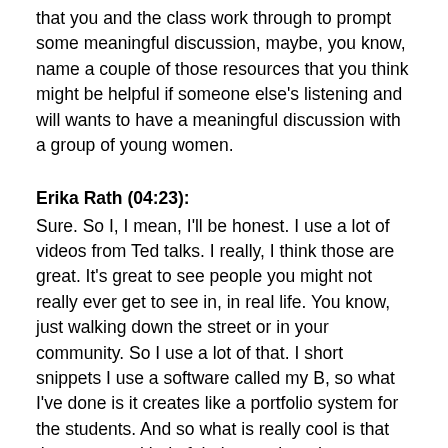that you and the class work through to prompt some meaningful discussion, maybe, you know, name a couple of those resources that you think might be helpful if someone else's listening and will wants to have a meaningful discussion with a group of young women.
Erika Rath (04:23): Sure. So I, I mean, I'll be honest. I use a lot of videos from Ted talks. I really, I think those are great. It's great to see people you might not really ever get to see in, in real life. You know, just walking down the street or in your community. So I use a lot of that. I short snippets I use a software called my B, so what I've done is it creates like a portfolio system for the students. And so what is really cool is that they can see kind of their growth and development over the course of five years. So, wow. How did I respond to a reflection in grade seven and then, wow, I'm now a mature young adult in grade 11. How do, how am I responding a little bit